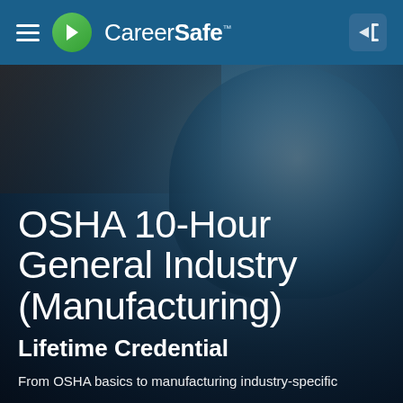CareerSafe navigation bar with hamburger menu, CareerSafe logo, and login icon
[Figure (photo): Worker wearing a blue hard hat, dark industrial background, used as hero banner image]
OSHA 10-Hour General Industry (Manufacturing)
Lifetime Credential
From OSHA basics to manufacturing industry-specific